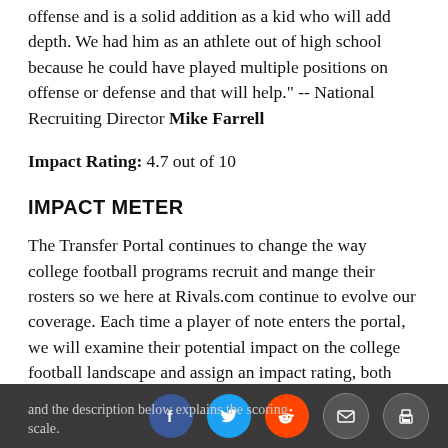offense and is a solid addition as a kid who will add depth. We had him as an athlete out of high school because he could have played multiple positions on offense or defense and that will help." -- National Recruiting Director Mike Farrell
Impact Rating: 4.7 out of 10
IMPACT METER
The Transfer Portal continues to change the way college football programs recruit and mange their rosters so we here at Rivals.com continue to evolve our coverage. Each time a player of note enters the portal, we will examine their potential impact on the college football landscape and assign an impact rating, both when they enter the portal and when they choose a destination. The scale is from 1-10 and the description below explains the scoring scale.